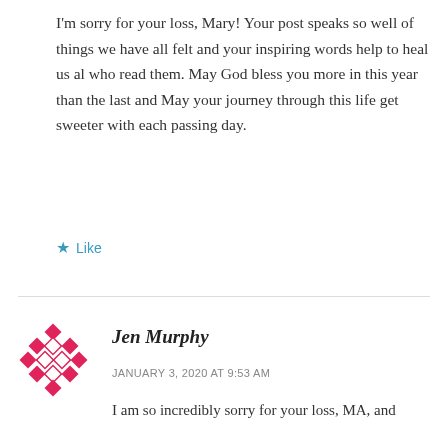I'm sorry for your loss, Mary! Your post speaks so well of things we have all felt and your inspiring words help to heal us al who read them. May God bless you more in this year than the last and May your journey through this life get sweeter with each passing day.
Like
Jen Murphy
JANUARY 3, 2020 AT 9:53 AM
I am so incredibly sorry for your loss, MA, and